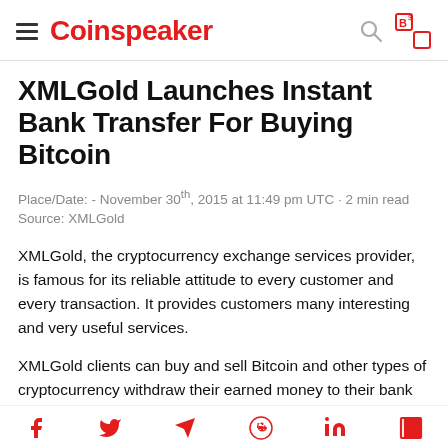Coinspeaker
XMLGold Launches Instant Bank Transfer For Buying Bitcoin
Place/Date: - November 30th, 2015 at 11:49 pm UTC · 2 min read
Source: XMLGold
XMLGold, the cryptocurrency exchange services provider, is famous for its reliable attitude to every customer and every transaction. It provides customers many interesting and very useful services.
XMLGold clients can buy and sell Bitcoin and other types of cryptocurrency withdraw their earned money to their bank card and so on. Moreover, clients can now use instant money transfer service launched together with Online Bank Transfer in November 2015.
Social share icons: Facebook, Twitter, Telegram, Reddit, LinkedIn, Share